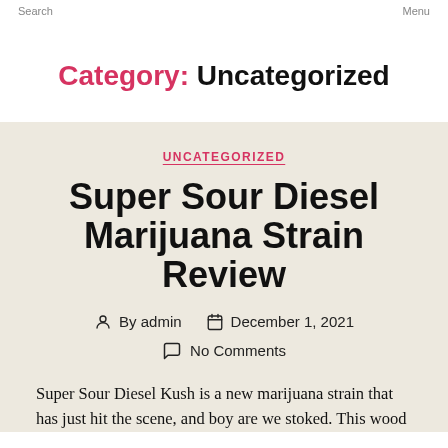Search   Menu
Category: Uncategorized
UNCATEGORIZED
Super Sour Diesel Marijuana Strain Review
By admin   December 1, 2021
No Comments
Super Sour Diesel Kush is a new marijuana strain that has just hit the scene, and boy are we stoked. This wood